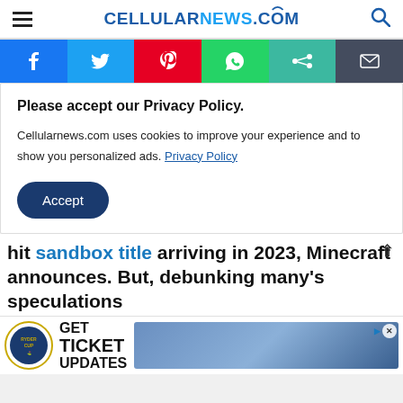CELLULARNEWS.COM
[Figure (screenshot): Social sharing bar with Facebook, Twitter, Pinterest, WhatsApp, Share, and Email buttons]
Please accept our Privacy Policy.
Cellularnews.com uses cookies to improve your experience and to show you personalized ads. Privacy Policy
Accept
hit sandbox title arriving in 2023, Minecraft announces. But, debunking many's speculations
[Figure (screenshot): Ryder Cup advertisement banner: GET TICKET UPDATES with logo and golf player image]